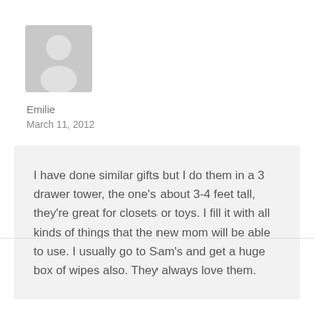[Figure (illustration): Grey placeholder avatar icon showing a silhouette of a person]
Emilie
March 11, 2012
I have done similar gifts but I do them in a 3 drawer tower, the one’s about 3-4 feet tall, they’re great for closets or toys. I fill it with all kinds of things that the new mom will be able to use. I usually go to Sam’s and get a huge box of wipes also. They always love them.